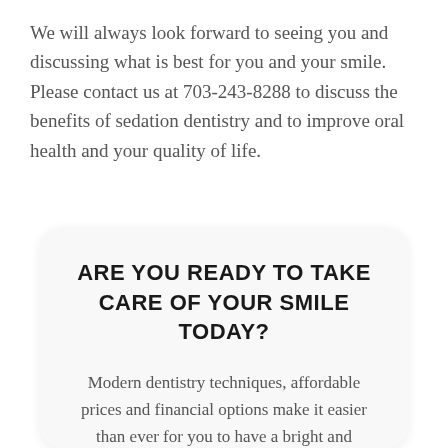We will always look forward to seeing you and discussing what is best for you and your smile. Please contact us at 703-243-8288 to discuss the benefits of sedation dentistry and to improve oral health and your quality of life.
ARE YOU READY TO TAKE CARE OF YOUR SMILE TODAY?
Modern dentistry techniques, affordable prices and financial options make it easier than ever for you to have a bright and